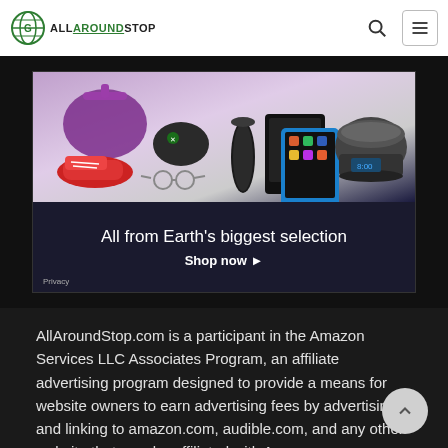[Figure (logo): AllAroundStop.com website logo with green globe icon and site name]
[Figure (screenshot): Amazon affiliate advertisement banner showing products (sneakers, gaming controller, Echo speaker, Kindle, handbag, slow cooker) with text 'All from Earth's biggest selection. Shop now ▸'. Privacy link in bottom left.]
AllAroundStop.com is a participant in the Amazon Services LLC Associates Program, an affiliate advertising program designed to provide a means for website owners to earn advertising fees by advertising and linking to amazon.com, audible.com, and any other website that may be affiliated with Amazon